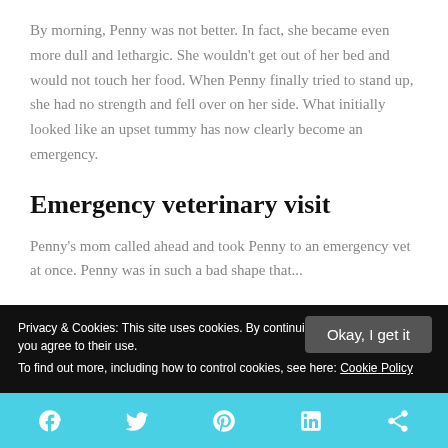By morning, Penny was not better. In fact, she became even more dull and lethargic. She wouldn't get out of her bed and would not touch her food. When Penny finally tried to stand up, she had no strength and fell over on her side. What initially looked like an upset tummy has now clearly become an emergency.
Emergency veterinary visit
Penny's mom called ahead and took Penny to an emergency vet at once. Penny was in such a bad shape that...
Privacy & Cookies: This site uses cookies. By continuing to use this website, you agree to their use. To find out more, including how to control cookies, see here: Cookie Policy
Okay, I get it